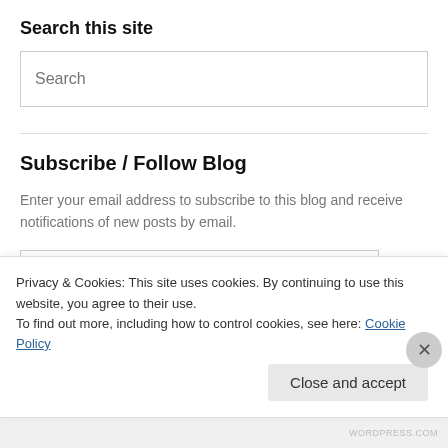Search this site
[Figure (screenshot): Search input box with placeholder text 'Search']
Subscribe / Follow Blog
Enter your email address to subscribe to this blog and receive notifications of new posts by email.
[Figure (screenshot): Email Address input box with placeholder text 'Email Address']
[Figure (screenshot): Sign me up! button with rounded border]
Privacy & Cookies: This site uses cookies. By continuing to use this website, you agree to their use.
To find out more, including how to control cookies, see here: Cookie Policy
Close and accept